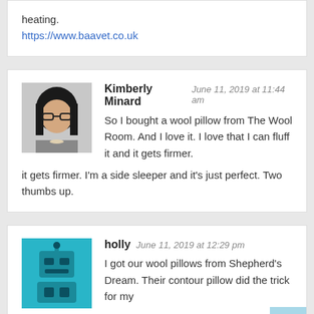heating.
https://www.baavet.co.uk
Kimberly Minard  June 11, 2019 at 11:44 am
So I bought a wool pillow from The Wool Room. And I love it. I love that I can fluff it and it gets firmer. I'm a side sleeper and it's just perfect. Two thumbs up.
holly  June 11, 2019 at 12:29 pm
I got our wool pillows from Shepherd's Dream. Their contour pillow did the trick for my spouse's neck. You can't take out (or add) stuffing as